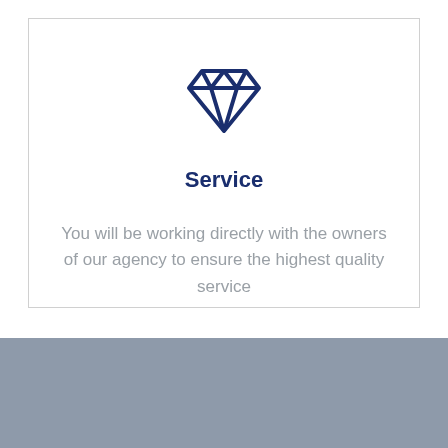[Figure (illustration): Dark navy blue diamond gem icon outline]
Service
You will be working directly with the owners of our agency to ensure the highest quality service